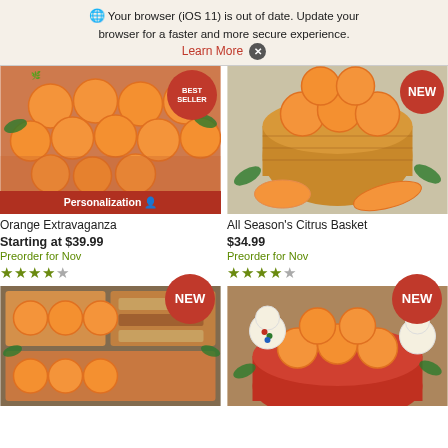Your browser (iOS 11) is out of date. Update your browser for a faster and more secure experience. Learn More X
[Figure (photo): Orange Extravaganza product photo - oranges arranged in a box with green tissue, Best Seller badge, Personalization bar at bottom]
[Figure (photo): All Season's Citrus Basket product photo - oranges in a woven basket with sliced oranges, NEW badge]
Orange Extravaganza
Starting at $39.99
Preorder for Nov
★★★★½ (stars rating)
All Season's Citrus Basket
$34.99
Preorder for Nov
★★★★½ (stars rating)
[Figure (photo): New product - gift box with oranges and snacks, NEW badge]
[Figure (photo): New product - holiday gift basket with oranges and snowman cookies, NEW badge]